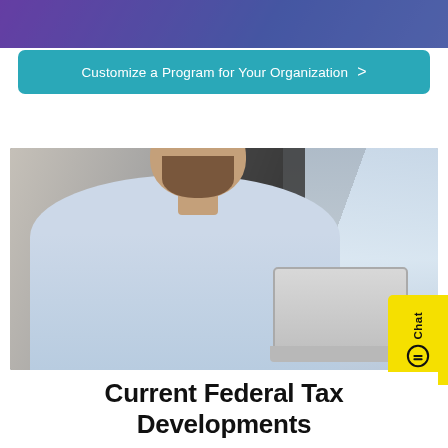[Figure (photo): Top banner with purple/blue gradient background, partially cropped]
Customize a Program for Your Organization >
[Figure (photo): Photo of a bearded man in a light blue shirt working on a laptop, in an office setting with windows and dark walls in background]
Current Federal Tax Developments